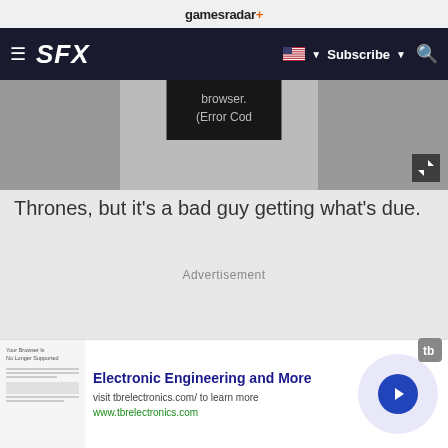gamesradar+
SFX  Subscribe
[Figure (screenshot): Embedded video player showing error message: browser. (Error Cod]
Thrones, but it’s a bad guy getting what’s due.
Advertisement
[Figure (infographic): Advertisement banner: Electronic Engineering and More. visit tbrelectronics.com/ to learn more. www.tbrelectronics.com]